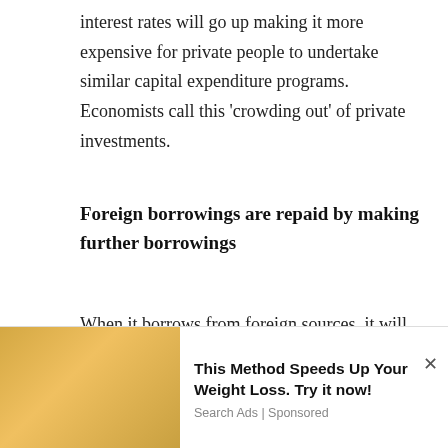interest rates will go up making it more expensive for private people to undertake similar capital expenditure programs. Economists call this ‘crowding out’ of private investments.
Foreign borrowings are repaid by making further borrowings
When it borrows from foreign sources, it will increase the country’s foreign debt and drive the country to a very critical situation of having to find foreign exchange to repay those loans. This was the experience of Mexico...
[Figure (photo): Advertisement overlay showing a person squeezing a lemon with a bottle in the background, alongside ad text: 'This Method Speeds Up Your Weight Loss. Try it now!' with source 'Search Ads | Sponsored']